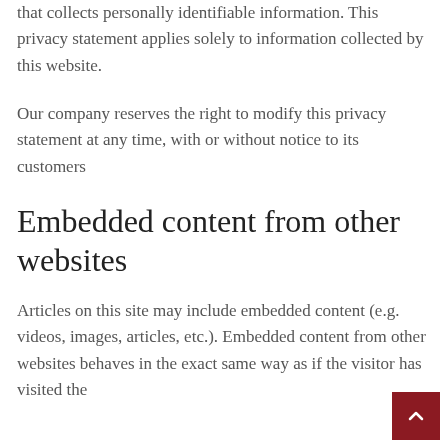that collects personally identifiable information. This privacy statement applies solely to information collected by this website.
Our company reserves the right to modify this privacy statement at any time, with or without notice to its customers
Embedded content from other websites
Articles on this site may include embedded content (e.g. videos, images, articles, etc.). Embedded content from other websites behaves in the exact same way as if the visitor has visited the